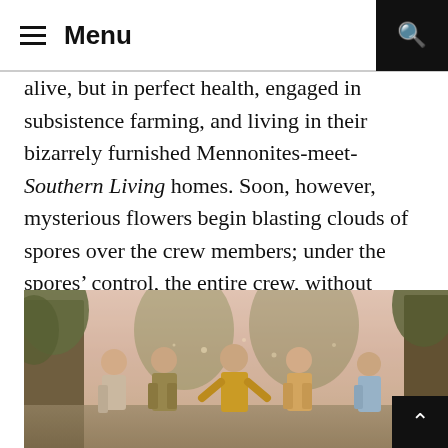Menu
alive, but in perfect health, engaged in subsistence farming, and living in their bizarrely furnished Mennonites-meet-Southern Living homes. Soon, however, mysterious flowers begin blasting clouds of spores over the crew members; under the spores’ control, the entire crew, without asking permission, decides to join the settlers, ditching Kirk and the Enterprise.
[Figure (photo): Scene from a Star Trek episode showing crew members standing outdoors among trees in a hazy, warm-toned setting.]